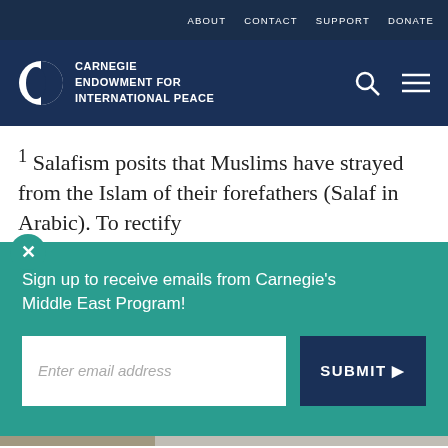ABOUT  CONTACT  SUPPORT  DONATE
[Figure (logo): Carnegie Endowment for International Peace logo with circular icon and white text]
1 Salafism posits that Muslims have strayed from the Islam of their forefathers (Salaf in Arabic). To rectify t... a... h...
Sign up to receive emails from Carnegie's Middle East Program!
Enter email address
SUBMIT ▶
our cookie policy.
Social share icons: print, copy link, facebook, twitter, whatsapp, messenger, linkedin